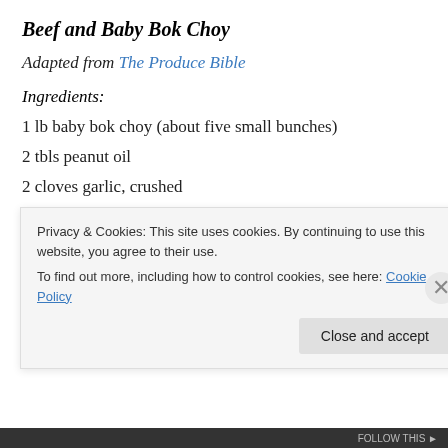Beef and Baby Bok Choy
Adapted from The Produce Bible
Ingredients:
1 lb baby bok choy (about five small bunches)
2 tbls peanut oil
2 cloves garlic, crushed
8 ounces rump steak, thinly sliced*
Privacy & Cookies: This site uses cookies. By continuing to use this website, you agree to their use.
To find out more, including how to control cookies, see here: Cookie Policy